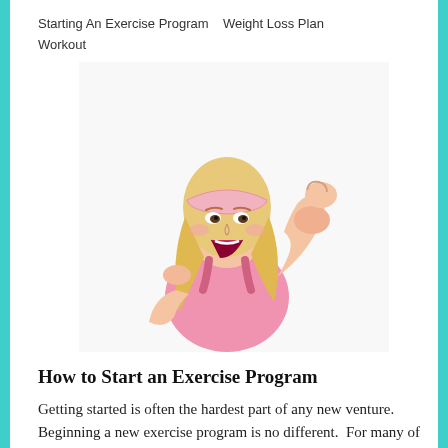Starting An Exercise Program   Weight Loss Plan   Workout
[Figure (photo): Woman in pink athletic top flexing her bicep, smiling, wearing a pink headband, on white background]
How to Start an Exercise Program
Getting started is often the hardest part of any new venture.  Beginning a new exercise program is no different.  For many of us this is something